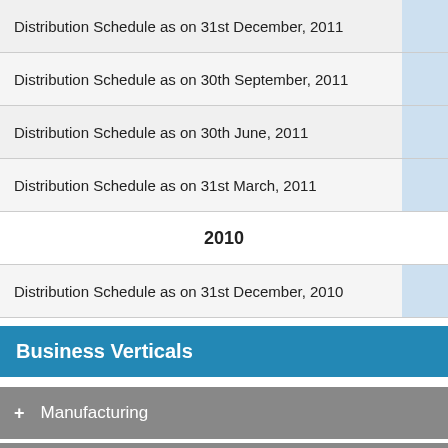Distribution Schedule as on 31st December, 2011
Distribution Schedule as on 30th September, 2011
Distribution Schedule as on 30th June, 2011
Distribution Schedule as on 31st March, 2011
2010
Distribution Schedule as on 31st December, 2010
Business Verticals
+ Manufacturing
+ Turnkey Solutions
+ International Trade